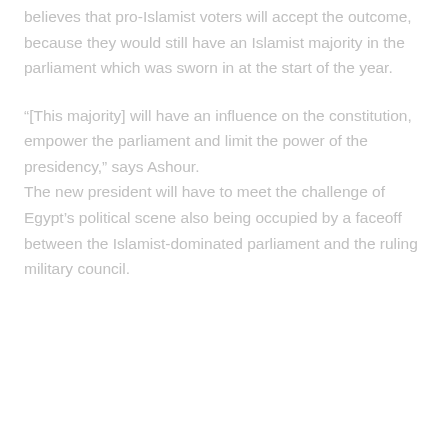believes that pro-Islamist voters will accept the outcome, because they would still have an Islamist majority in the parliament which was sworn in at the start of the year.
“[This majority] will have an influence on the constitution, empower the parliament and limit the power of the presidency,” says Ashour.
The new president will have to meet the challenge of Egypt’s political scene also being occupied by a faceoff between the Islamist-dominated parliament and the ruling military council.